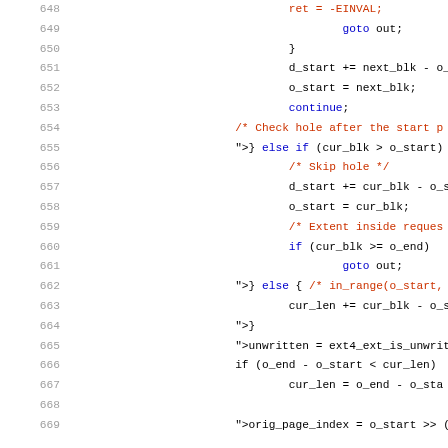[Figure (screenshot): Source code listing showing lines 648-669 of a C file (ext4 filesystem code). Line numbers in gray on the left, code with syntax highlighting (blue keywords, red comments, black normal code) on the right.]